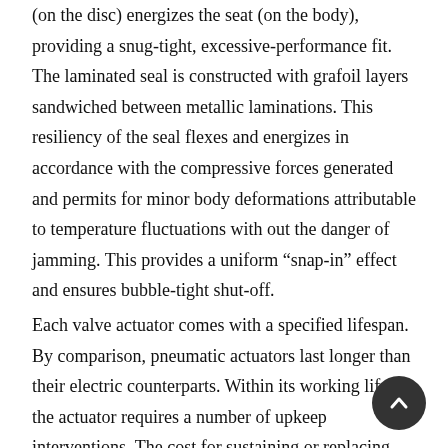(on the disc) energizes the seat (on the body), providing a snug-tight, excessive-performance fit. The laminated seal is constructed with grafoil layers sandwiched between metallic laminations. This resiliency of the seal flexes and energizes in accordance with the compressive forces generated and permits for minor body deformations attributable to temperature fluctuations with out the danger of jamming. This provides a uniform “snap-in” effect and ensures bubble-tight shut-off.
Each valve actuator comes with a specified lifespan. By comparison, pneumatic actuators last longer than their electric counterparts. Within its working life, the actuator requires a number of upkeep interventions. The cost for sustaining or replacing the actuator must be within r… Other concerns to be made embrace the price of purch…